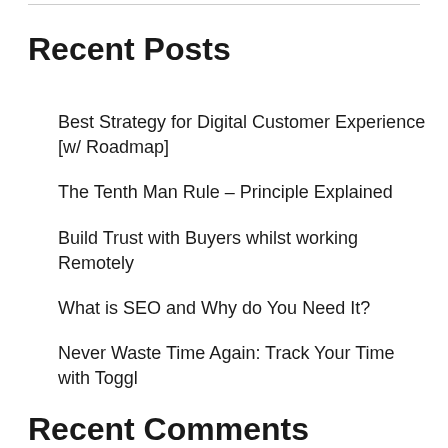Recent Posts
Best Strategy for Digital Customer Experience [w/ Roadmap]
The Tenth Man Rule – Principle Explained
Build Trust with Buyers whilst working Remotely
What is SEO and Why do You Need It?
Never Waste Time Again: Track Your Time with Toggl
Recent Comments